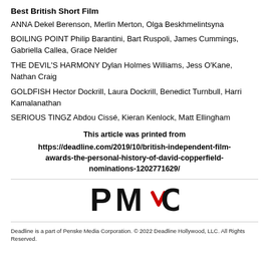Best British Short Film
ANNA Dekel Berenson, Merlin Merton, Olga Beskhmelintsyna
BOILING POINT Philip Barantini, Bart Ruspoli, James Cummings, Gabriella Callea, Grace Nelder
THE DEVIL'S HARMONY Dylan Holmes Williams, Jess O'Kane, Nathan Craig
GOLDFISH Hector Dockrill, Laura Dockrill, Benedict Turnbull, Harri Kamalanathan
SERIOUS TINGZ Abdou Cissé, Kieran Kenlock, Matt Ellingham
This article was printed from https://deadline.com/2019/10/british-independent-film-awards-the-personal-history-of-david-copperfield-nominations-1202771629/
[Figure (logo): PMC (Penske Media Corporation) logo in black and red]
Deadline is a part of Penske Media Corporation. © 2022 Deadline Hollywood, LLC. All Rights Reserved.